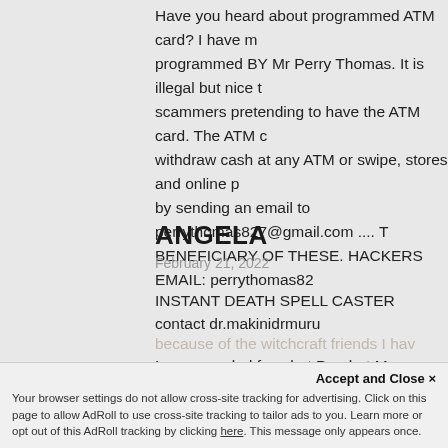Have you heard about programmed ATM card? I have m... programmed BY Mr Perry Thomas. It is illegal but nice to... scammers pretending to have the ATM card. The ATM c... withdraw cash at any ATM or swipe, stores and online p... by sending an email to perrythomas827@gmail.com .... BENEFICIARY OF THESE. HACKERS EMAIL: perrythomas82...
ANGELA
February 21, 2022
INSTANT DEATH SPELL CASTER contact dr.makinidrmuru...
I am very glad for what Prophet Muguru did for me, he h... spell on my friend life who was really troubling my life a... needed me to progress, each time I get a job from a com...
because of the witchcraft friends I hav...
...reason, my friend make me trou...
Accept and Close ×
Your browser settings do not allow cross-site tracking for advertising. Click on this page to allow AdRoll to use cross-site tracking to tailor ads to you. Learn more or opt out of this AdRoll tracking by clicking here. This message only appears once.